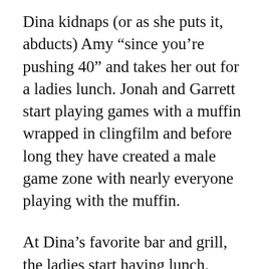Dina kidnaps (or as she puts it, abducts) Amy “since you’re pushing 40” and takes her out for a ladies lunch. Jonah and Garrett start playing games with a muffin wrapped in clingfilm and before long they have created a male game zone with nearly everyone playing with the muffin.
At Dina’s favorite bar and grill, the ladies start having lunch. What begins as an awkward moment turns into a drunken day out for the women. The luncheon sheds light on a couple of peripheral characters and ends in heartache for Sandra who